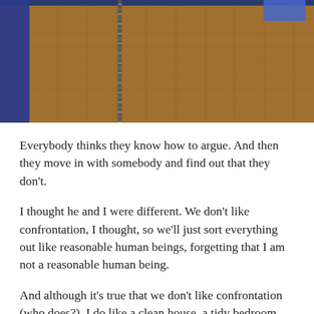[Figure (photo): A wooden surface with a chain hanging vertically, a blue vertical bar on the left side, and a blue card/label in the top right corner.]
Everybody thinks they know how to argue. And then they move in with somebody and find out that they don't.
I thought he and I were different. We don't like confrontation, I thought, so we'll just sort everything out like reasonable human beings, forgetting that I am not a reasonable human being.
And although it's true that we don't like confrontation (who does?), I do like a clean house, a tidy bedroom and to live with a human being who